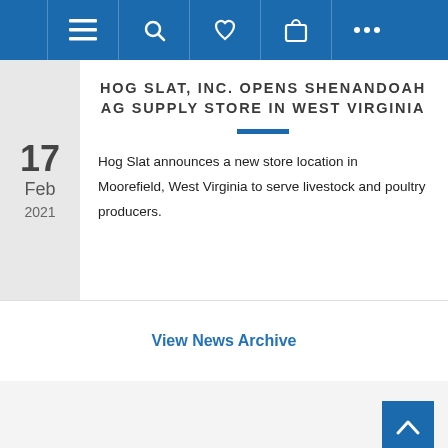[Figure (screenshot): Website navigation bar with hamburger menu, search, heart/wishlist, shopping bag, and more (ellipsis) icons on a blue background]
HOG SLAT, INC. OPENS SHENANDOAH AG SUPPLY STORE IN WEST VIRGINIA
Hog Slat announces a new store location in Moorefield, West Virginia to serve livestock and poultry producers.
View News Archive